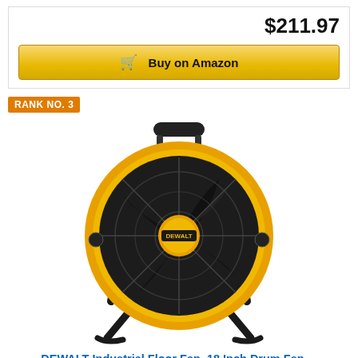$211.97
Buy on Amazon
RANK NO. 3
[Figure (photo): DEWALT industrial drum floor fan, 18 inch, yellow and black, with metal guard, handle on top, and floor stand]
DEWALT Industrial Floor Fan, 18 Inch Drum Fan,...